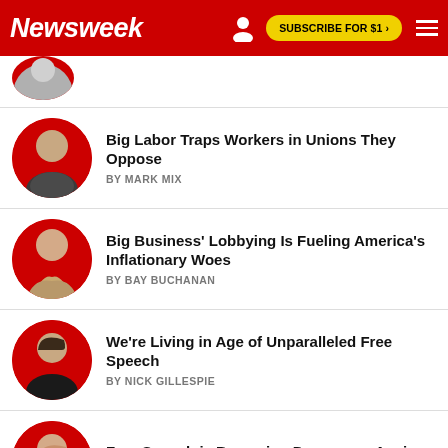Newsweek  SUBSCRIBE FOR $1 >
Big Labor Traps Workers in Unions They Oppose | BY MARK MIX
Big Business' Lobbying Is Fueling America's Inflationary Woes | BY BAY BUCHANAN
We're Living in Age of Unparalleled Free Speech | BY NICK GILLESPIE
Free Speech is Becoming Dangerous Again | BY BROOKE GOLDSTEIN
Biden's Philly Speech Shows a Man and Party Beyond...